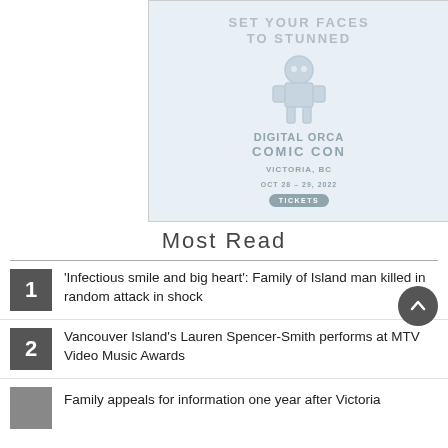[Figure (illustration): Advertisement banner for Digital Orca Comic Con with robot illustration, text 'SET YOUR FACES TO STUNNED', dates, and TICKETS button]
Most Read
'Infectious smile and big heart': Family of Island man killed in random attack in shock
Vancouver Island's Lauren Spencer-Smith performs at MTV Video Music Awards
Family appeals for information one year after Victoria